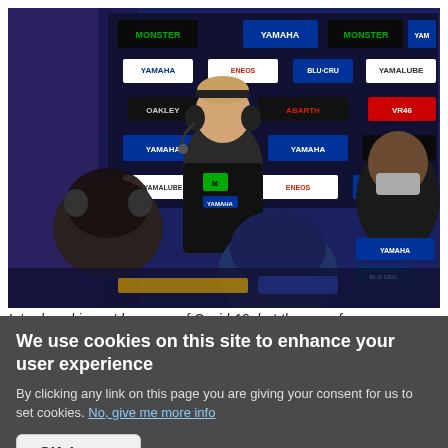[Figure (photo): A MotoGP rider wearing a Monster Energy Yamaha racing suit and headphones sits in a pit garage. Sponsor logos (Yamaha, Monster Energy, ENEOS, OAKLEY, Abarth, VR46, Yamalube, BluCru) are visible on the backdrop. Other team members are visible in the foreground and background.]
Introduced in part because of Covid-19, but the use of
We use cookies on this site to enhance your user experience
By clicking any link on this page you are giving your consent for us to set cookies. No, give me more info
OK, I agree